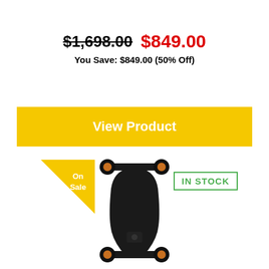$1,698.00  $849.00
You Save: $849.00 (50% Off)
View Product
[Figure (photo): Electric skateboard (longboard) shown from above, black deck with four black wheels. Has an 'On Sale' yellow badge and 'IN STOCK' green badge.]